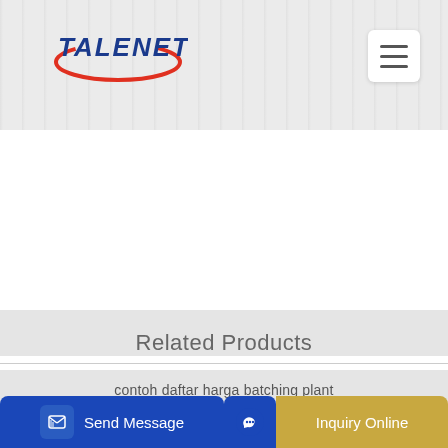TALENET
Related Products
contoh daftar harga batching plant
ISUZU CYZ concrete mixer truck from Europe used ISUZU CYZ
Send Message
Inquiry Online